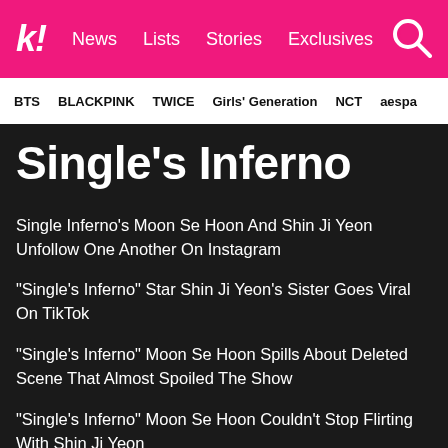k! News Lists Stories Exclusives
BTS BLACKPINK TWICE Girls' Generation NCT aespa
Single's Inferno
Single Inferno's Moon Se Hoon And Shin Ji Yeon Unfollow One Another On Instagram
“Single’s Inferno” Star Shin Ji Yeon’s Sister Goes Viral On TikTok
“Single’s Inferno” Moon Se Hoon Spills About Deleted Scene That Almost Spoiled The Show
“Single’s Inferno” Moon Se Hoon Couldn’t Stop Flirting With Shin Ji Yeon
View All (96)